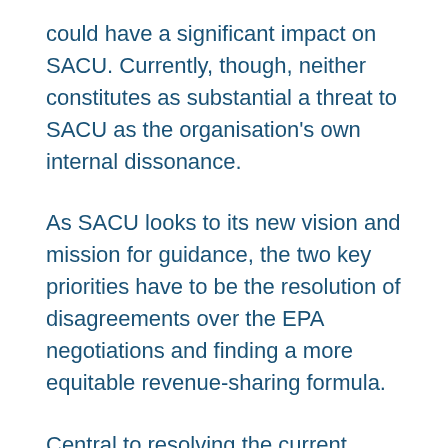could have a significant impact on SACU. Currently, though, neither constitutes as substantial a threat to SACU as the organisation's own internal dissonance.
As SACU looks to its new vision and mission for guidance, the two key priorities have to be the resolution of disagreements over the EPA negotiations and finding a more equitable revenue-sharing formula.
Central to resolving the current impasse is the need to craft a regional development agenda that takes into consideration the different development